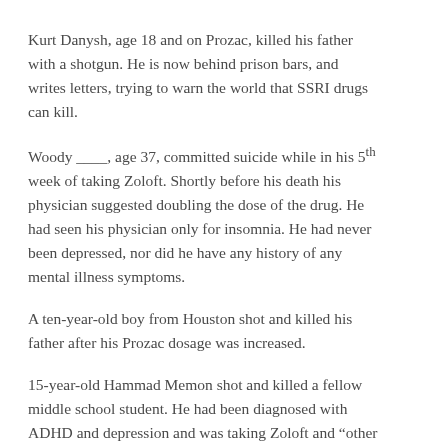Kurt Danysh, age 18 and on Prozac, killed his father with a shotgun. He is now behind prison bars, and writes letters, trying to warn the world that SSRI drugs can kill.
Woody ____, age 37, committed suicide while in his 5th week of taking Zoloft. Shortly before his death his physician suggested doubling the dose of the drug. He had seen his physician only for insomnia. He had never been depressed, nor did he have any history of any mental illness symptoms.
A ten-year-old boy from Houston shot and killed his father after his Prozac dosage was increased.
15-year-old Hammad Memon shot and killed a fellow middle school student. He had been diagnosed with ADHD and depression and was taking Zoloft and “other drugs for the conditions.”